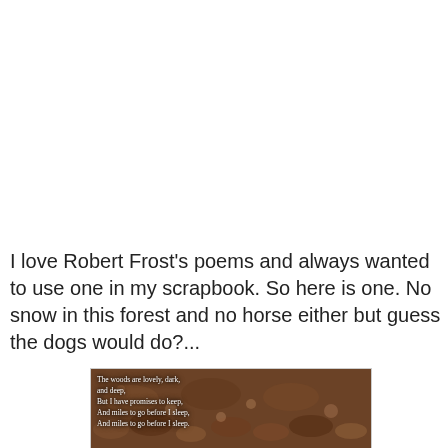I love Robert Frost's poems and always wanted to use one in my scrapbook. So here is one. No snow in this forest and no horse either but guess the dogs would do?...
[Figure (photo): A sepia-toned forest floor photo with an overlay of Robert Frost poem text: 'The woods are lovely, dark, and deep, But I have promises to keep, And miles to go before I sleep, And miles to go before I sleep.']